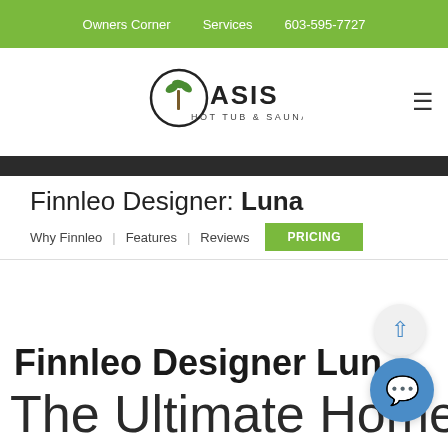Owners Corner   Services   603-595-7727
[Figure (logo): Oasis Hot Tub & Sauna logo with palm tree inside circle O, text OASIS HOT TUB & SAUNA]
Finnleo Designer: Luna
Why Finnleo   Features   Reviews   PRICING
Finnleo Designer Luna The Ultimate Home